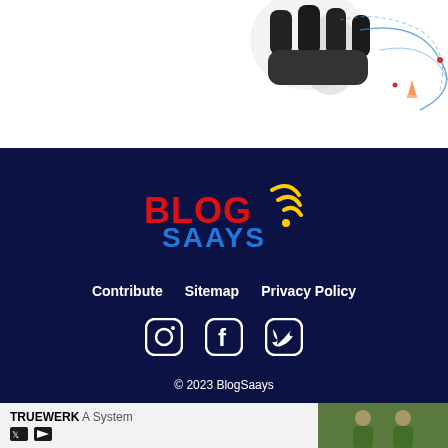[Figure (illustration): Partial view of a robot/AI character illustration with blue network lines on white background, cropped at top]
[Figure (logo): BlogSaays logo: 'BLOG' in red with yellow wifi/signal arcs, 'SAAYS' in blue, on dark navy background]
Contribute    Sitemap    Privacy Policy
[Figure (other): Social media icons: Instagram, Facebook, Twitter in white on dark navy background]
© 2023 BlogSaays
[Figure (other): Advertisement banner: TRUEWERK 'A System' brand ad with photo of two people in green jackets]